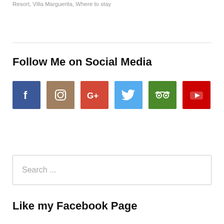Resort, Villa Marguerita, Where to stay
Follow Me on Social Media
[Figure (infographic): Six social media icon buttons in a row: Facebook (blue), Instagram (brown), Google+ (red-orange), Twitter (blue), TripAdvisor (green), YouTube (red)]
Search ...
Like my Facebook Page